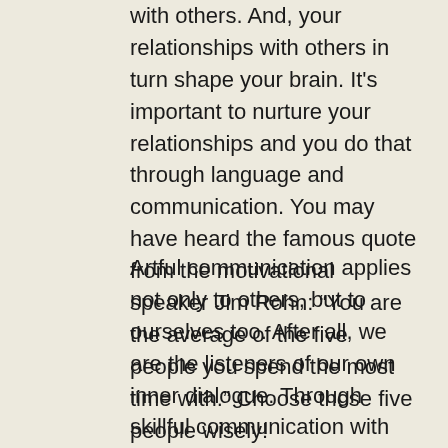with others. And, your relationships with others in turn shape your brain. It's important to nurture your relationships and you do that through language and communication. You may have heard the famous quote from the motivational speaker Jim Rohn: “You are the average of the five people you spend the most time with.” Choose those five people wisely!
Artful communication applies not only to others, but to ourselves too. After all, we are the listeners of our own inner dialogue. Through skillful communication with ourselves and others, we can reshape all of our relationships – family, friendships and business relationships.